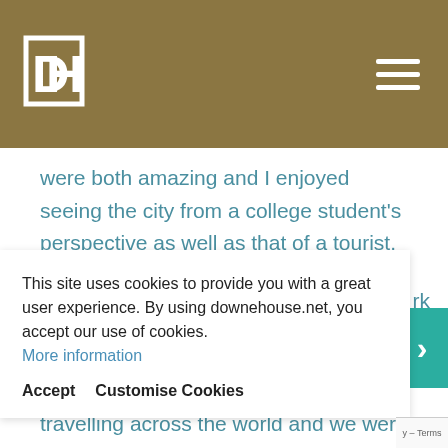[Figure (logo): Downe House logo - white DH monogram letters inside a white square outline on gold/brown background, with hamburger menu icon on the right]
were both amazing and I enjoyed seeing the city from a college student's perspective as well as that of a tourist.
Together we visited one of Massachusetts's most prestigious colleges, Smith College. We saw a plastic-waste exhibition which is travelling across the world and we were lucky enough to see it in
This site uses cookies to provide you with a great user experience. By using downehouse.net, you accept our use of cookies. More information
Accept   Customise Cookies
rk